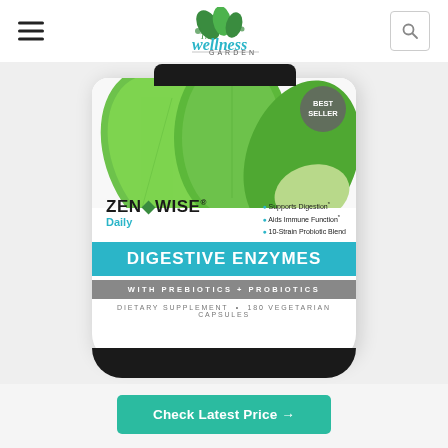The Wellness Garden
[Figure (photo): Zenwise Daily Digestive Enzymes with Prebiotics + Probiotics supplement bottle, 180 vegetarian capsules, labeled as Best Seller, shown with green leaves on white background]
Check Latest Price →